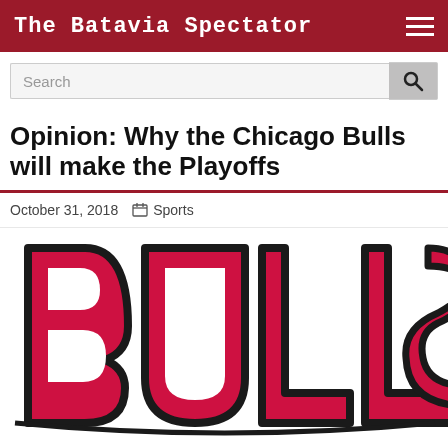The Batavia Spectator
Search
Opinion: Why the Chicago Bulls will make the Playoffs
October 31, 2018   Sports
[Figure (logo): Chicago Bulls 'BULLS' wordmark in large red block letters with black outline on white background, cropped to show B, U, L, L, S partially]